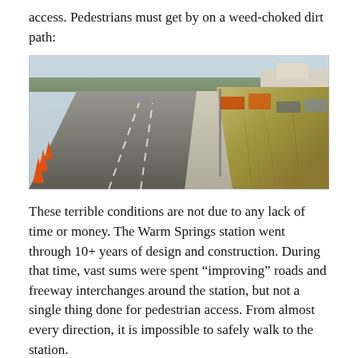access. Pedestrians must get by on a weed-choked dirt path:
[Figure (photo): Street-level photo showing a wide multi-lane road under construction with orange traffic cones on the left, a concrete sidewalk in the center, and a weed-choked dirt area to the right with a utility pole, construction equipment and parked vehicles visible in the background.]
These terrible conditions are not due to any lack of time or money. The Warm Springs station went through 10+ years of design and construction. During that time, vast sums were spent “improving” roads and freeway interchanges around the station, but not a single thing done for pedestrian access. From almost every direction, it is impossible to safely walk to the station.